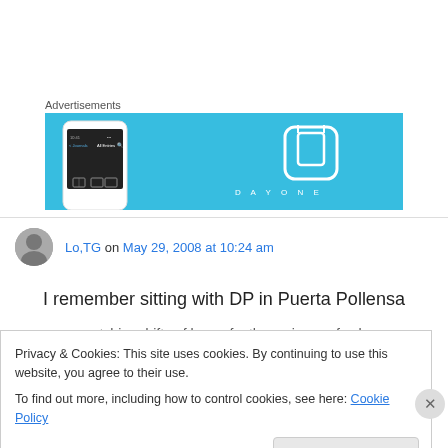Advertisements
[Figure (illustration): Advertisement banner for Day One app — light blue background with a phone mockup on the left and the Day One book icon logo with 'DAY ONE' text on the right]
Lo,TG on May 29, 2008 at 10:24 am
I remember sitting with DP in Puerta Pollensa
watching drifts of large, feathery pieces of ash
Privacy & Cookies: This site uses cookies. By continuing to use this website, you agree to their use.
To find out more, including how to control cookies, see here: Cookie Policy